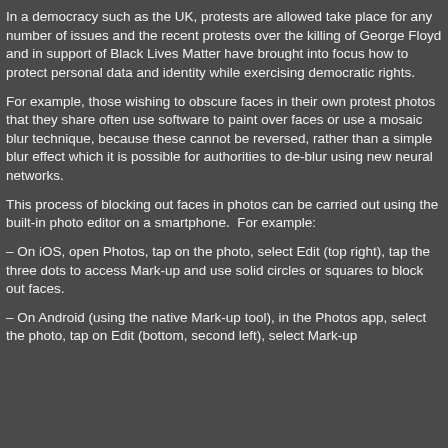In a democracy such as the UK, protests are allowed take place for any number of issues and the recent protests over the killing of George Floyd and in support of Black Lives Matter have brought into focus how to protect personal data and identity while exercising democratic rights.
For example, those wishing to obscure faces in their own protest photos that they share often use software to paint over faces or use a mosaic blur technique, because these cannot be reversed, rather than a simple blur effect which it is possible for authorities to de-blur using new neural networks.
This process of blocking out faces in photos can be carried out using the built-in photo editor on a smartphone.  For example:
– On iOS, open Photos, tap on the photo, select Edit (top right), tap the three dots to access Mark-up and use solid circles or squares to block out faces.
– On Android (using the native Mark-up tool), in the Photos app, select the photo, tap on Edit (bottom, second left), select Mark-up